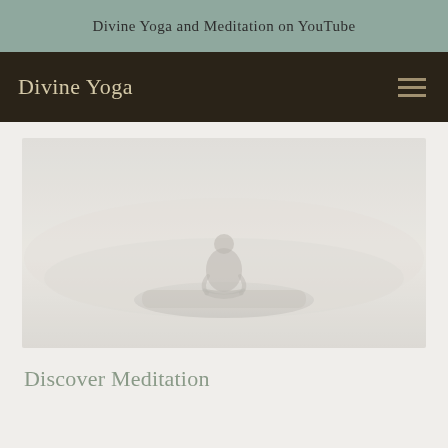Divine Yoga and Meditation on YouTube
Divine Yoga
[Figure (photo): A faint silhouette of a person sitting in a lotus meditation pose, centered against a misty, pale background with a gradient from light gray to soft beige tones.]
Discover Meditation